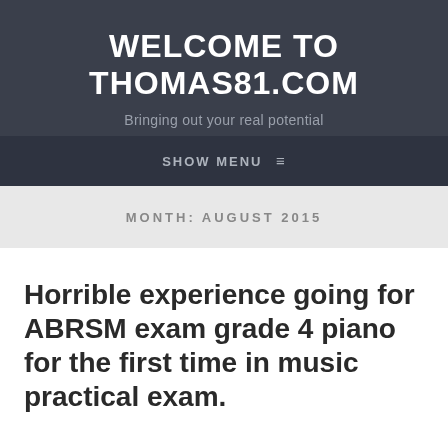WELCOME TO THOMAS81.COM
Bringing out your real potential
SHOW MENU ≡
MONTH: AUGUST 2015
Horrible experience going for ABRSM exam grade 4 piano for the first time in music practical exam.